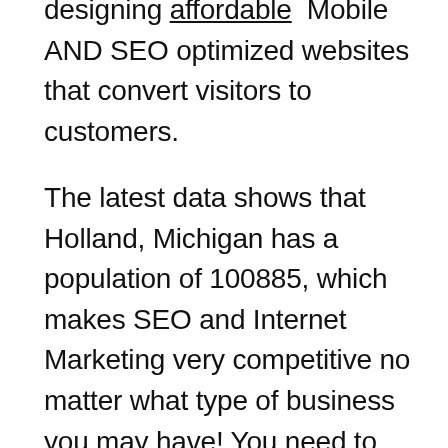designing affordable Mobile AND SEO optimized websites that convert visitors to customers.
The latest data shows that Holland, Michigan has a population of 100885, which makes SEO and Internet Marketing very competitive no matter what type of business you may have! You need to have a marketing firm that has experience marketing businesses in such a competitive market. T3 SEO Internet Marketing has over 20 years of experience helping small businesses and large publicly traded companies reach the top of Google